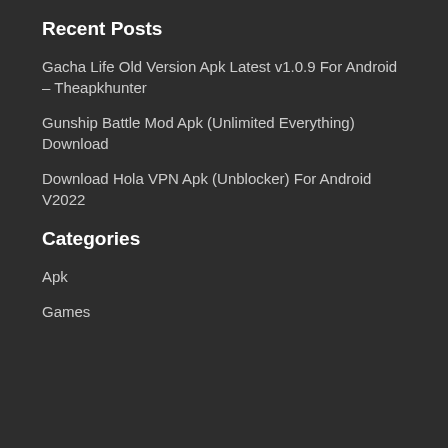Recent Posts
Gacha Life Old Version Apk Latest v1.0.9 For Android – Theapkhunter
Gunship Battle Mod Apk (Unlimited Everything) Download
Download Hola VPN Apk (Unblocker) For Android V2022
Categories
Apk
Games